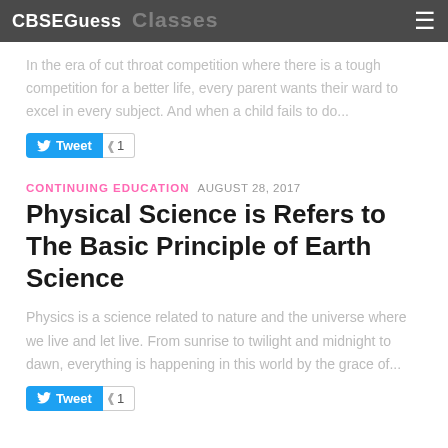CBSEGuess
In the era of cut throat competition where there is a tough competition for a better life, every parent wants their ward to excel in every subject. And when a child fails to do...
Tweet 1
CONTINUING EDUCATION  AUGUST 28, 2017
Physical Science is Refers to The Basic Principle of Earth Science
Physics is a science related to nature and the universe where we live and let live. From sunrise to twilight and midnight to dawn, everything is happening in this world by the grace of...
Tweet 1